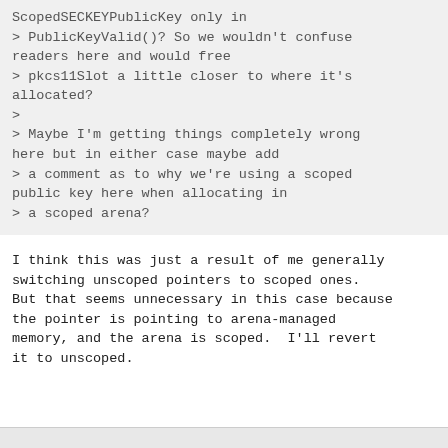ScopedSECKEYPublicKey only in
> PublicKeyValid()? So we wouldn't confuse readers here and would free
> pkcs11Slot a little closer to where it's allocated?
>
> Maybe I'm getting things completely wrong here but in either case maybe add
> a comment as to why we're using a scoped public key here when allocating in
> a scoped arena?
I think this was just a result of me generally switching unscoped pointers to scoped ones. But that seems unnecessary in this case because the pointer is pointing to arena-managed memory, and the arena is scoped.  I'll revert it to unscoped.